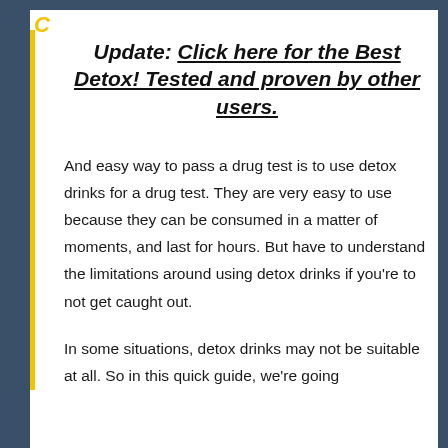Update: Click here for the Best Detox! Tested and proven by other users.
And easy way to pass a drug test is to use detox drinks for a drug test. They are very easy to use because they can be consumed in a matter of moments, and last for hours. But have to understand the limitations around using detox drinks if you're to not get caught out.
In some situations, detox drinks may not be suitable at all. So in this quick guide, we're going